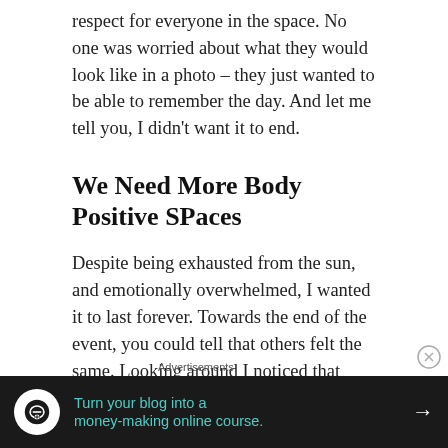respect for everyone in the space. No one was worried about what they would look like in a photo – they just wanted to be able to remember the day. And let me tell you, I didn't want it to end.
We Need More Body Positive SPaces
Despite being exhausted from the sun, and emotionally overwhelmed, I wanted it to last forever. Towards the end of the event, you could tell that others felt the same. Looking around I noticed that people were more quiet than they were at the beginning of the day, and many were just sitting,
Advertisements
[Figure (infographic): Dark advertisement banner: 'Turn your blog into a money-making online course.' with a white circular icon and arrow.]